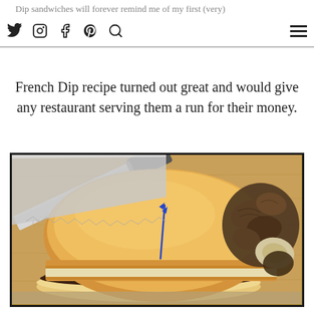Dip sandwiches will forever remind me of my first (very) awkward dinner date at TGIFridays with the guy I went on a date for several years during high school. At any rate, this
French Dip recipe turned out great and would give any restaurant serving them a run for their money.
[Figure (photo): A French Dip sandwich on a wooden cutting board, cut open to reveal dark roasted beef filling inside a crusty French roll. A serrated knife is visible on the left. Dried mushrooms are visible on the right side.]